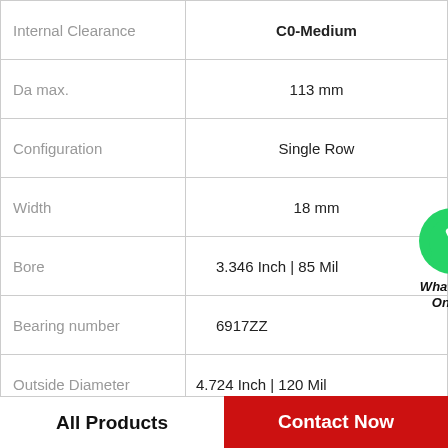| Property | Value |
| --- | --- |
| Internal Clearance | C0-Medium |
| Da max. | 113 mm |
| Configuration | Single Row |
| Width | 18 mm |
| Bore | 3.346 Inch | 85 Mil |
| Bearing number | 6917ZZ |
| Outside Diameter | 4.724 Inch | 120 Mil |
| Da (max) | 113 mm |
| Category | Single Row Ball Bear |
[Figure (logo): WhatsApp green phone icon with 'WhatsApp Online' label]
All Products    Contact Now